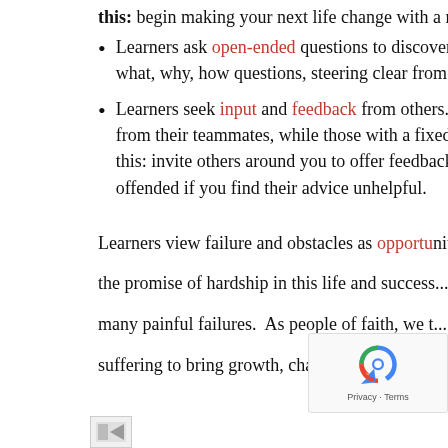this: begin making your next life change with a mindset that change is necessary for growth. You can believe better!
Learners ask open-ended questions to discover solutions rather than stating their opinions as facts. Try this: use what, why, how questions, steering clear from questions which result in a simple yes or no.
Learners seek input and feedback from others. Those with a growth mindset welcome and value the contributions from their teammates, while those with a fixed mindset are easily offended by feedback or critical thinking. Try this: invite others around you to offer feedback or challenge your assumptions, and commit yourself not to becoming offended if you find their advice unhelpful.
Learners view failure and obstacles as opportunities...
the promise of hardship in this life and success...
many painful failures. As people of faith, we t...
suffering to bring growth, character de...